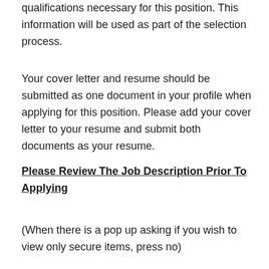qualifications necessary for this position. This information will be used as part of the selection process.
Your cover letter and resume should be submitted as one document in your profile when applying for this position. Please add your cover letter to your resume and submit both documents as your resume.
Please Review The Job Description Prior To Applying
(When there is a pop up asking if you wish to view only secure items, press no)